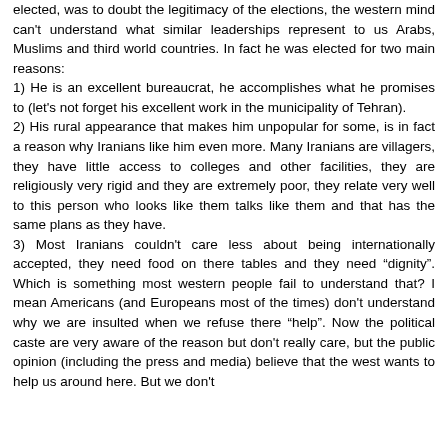elected, was to doubt the legitimacy of the elections, the western mind can't understand what similar leaderships represent to us Arabs, Muslims and third world countries. In fact he was elected for two main reasons:
1) He is an excellent bureaucrat, he accomplishes what he promises to (let's not forget his excellent work in the municipality of Tehran).
2) His rural appearance that makes him unpopular for some, is in fact a reason why Iranians like him even more. Many Iranians are villagers, they have little access to colleges and other facilities, they are religiously very rigid and they are extremely poor, they relate very well to this person who looks like them talks like them and that has the same plans as they have.
3) Most Iranians couldn't care less about being internationally accepted, they need food on there tables and they need “dignity”. Which is something most western people fail to understand that? I mean Americans (and Europeans most of the times) don't understand why we are insulted when we refuse there “help”. Now the political caste are very aware of the reason but don't really care, but the public opinion (including the press and media) believe that the west wants to help us around here. But we don't